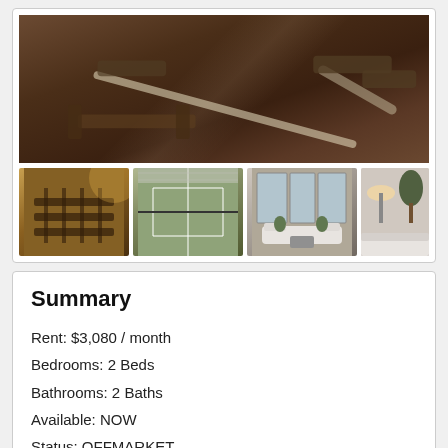[Figure (photo): Main photo of gym/fitness center with weight equipment on dark floor, top portion of image]
[Figure (photo): Thumbnail row: 1) gym with cardio equipment in warm lighting, 2) indoor tennis court, 3) living room with white sofas and plants, 4) partial view of bedroom/living area with lamp and tree]
Summary
Rent: $3,080 / month
Bedrooms: 2 Beds
Bathrooms: 2 Baths
Available: NOW
Status: OFFMARKET
Pet Policy: Pet Friendly